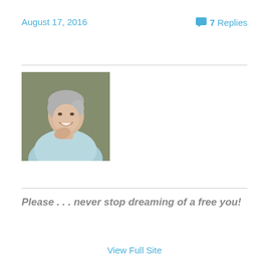August 17, 2016
💬 7 Replies
[Figure (photo): Portrait photo of a smiling older woman with short gray hair, wearing a light blue sweater, resting her chin on her hand, against a muted gray-green background.]
Please . . . never stop dreaming of a free you!
View Full Site